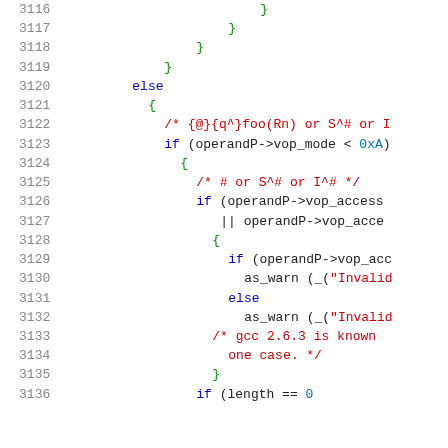Source code listing lines 3116-3136